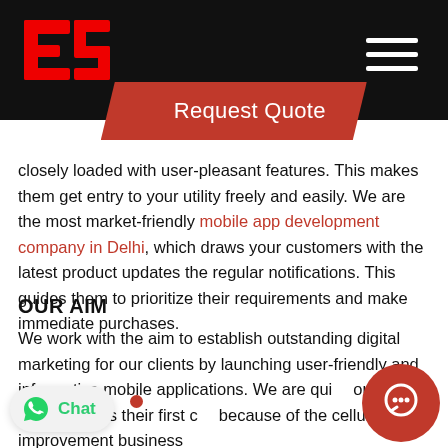ES logo and navigation header
Request Quote
closely loaded with user-pleasant features. This makes them get entry to your utility freely and easily. We are the most market-friendly mobile app development company in Delhi, which draws your customers with the latest product updates the regular notifications. This guides them to prioritize their requirements and make immediate purchases.
OUR AIM
We work with the aim to establish outstanding digital marketing for our clients by launching user-friendly and informative mobile applications. We are qui... our clients for making us their first c... because of the cellular utility improvement business